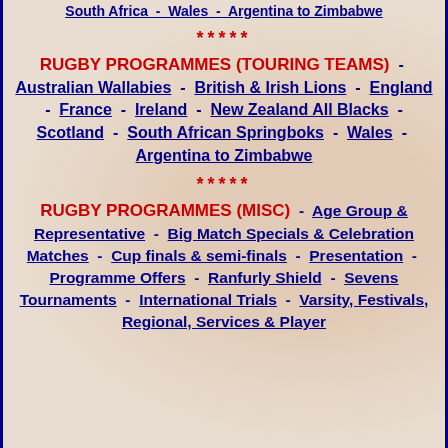South Africa - Wales - Argentina to Zimbabwe
*****
RUGBY PROGRAMMES (TOURING TEAMS) - Australian Wallabies - British & Irish Lions - England - France - Ireland - New Zealand All Blacks - Scotland - South African Springboks - Wales - Argentina to Zimbabwe
*****
RUGBY PROGRAMMES (MISC) - Age Group & Representative - Big Match Specials & Celebration Matches - Cup finals & semi-finals - Presentation - Programme Offers - Ranfurly Shield - Sevens Tournaments - International Trials - Varsity, Festivals, Regional, Services & Player